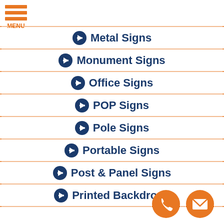[Figure (other): Orange hamburger menu icon with three horizontal bars and MENU label]
➔ Metal Signs
➔ Monument Signs
➔ Office Signs
➔ POP Signs
➔ Pole Signs
➔ Portable Signs
➔ Post & Panel Signs
➔ Printed Backdrops
[Figure (other): Orange circular phone contact button and orange circular email/envelope contact button]